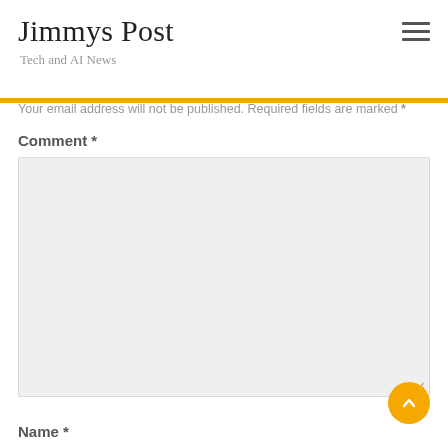Jimmys Post
Tech and AI News
Your email address will not be published. Required fields are marked *
Comment *
[Figure (other): Comment text area input box (empty, light gray background)]
Name *